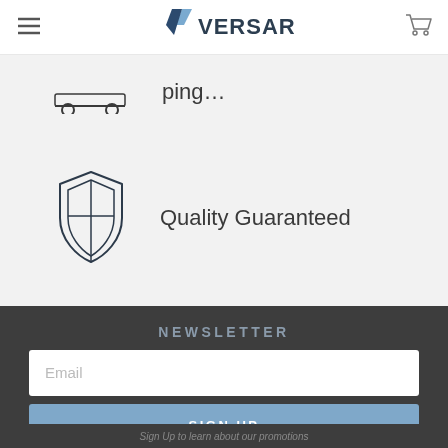[Figure (logo): Versare logo with V chevron mark and VERSARE wordmark]
[Figure (illustration): Partial shipping/cart icon at top of content area]
[Figure (illustration): Shield/crest icon representing quality guarantee]
Quality Guaranteed
NEWSLETTER
Email
SIGN UP
Sign Up to learn about our promotions